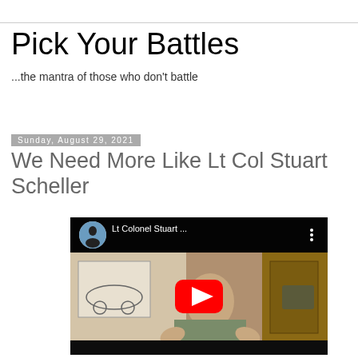Pick Your Battles
...the mantra of those who don't battle
Sunday, August 29, 2021
We Need More Like Lt Col Stuart Scheller
[Figure (screenshot): Embedded YouTube video player showing Lt Colonel Stuart Scheller video thumbnail with a man in military fatigues gesturing, YouTube play button overlay, channel avatar in top-left with text 'Lt Colonel Stuart ...']